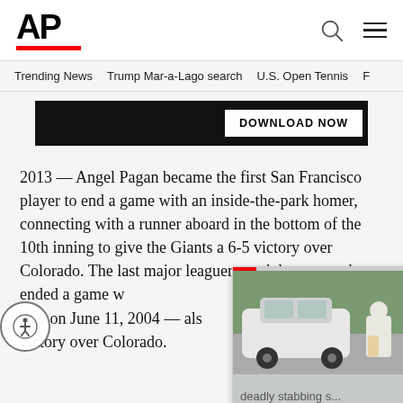AP
Trending News   Trump Mar-a-Lago search   U.S. Open Tennis
[Figure (screenshot): Black banner advertisement with DOWNLOAD NOW button]
2013 — Angel Pagan became the first San Francisco player to end a game with an inside-the-park homer, connecting with a runner aboard in the bottom of the 10th inning to give the Giants a 6-5 victory over Colorado. The last major leaguer to hit an inside-the-park home run that ended a game was Rich Aurilia of Tampa Bay on June 11, 2004 — also a Giants victory over Colorado.
[Figure (screenshot): Video overlay showing white car and person in protective gear, with caption 'deadly stabbing s...']